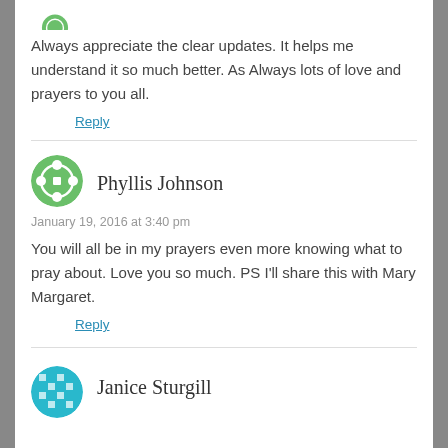[Figure (illustration): Partial avatar icon (cropped green circular avatar) at top of page]
Always appreciate the clear updates. It helps me understand it so much better. As Always lots of love and prayers to you all.
Reply
[Figure (illustration): Green circular avatar with white cross/plus icon pattern for Phyllis Johnson]
Phyllis Johnson
January 19, 2016 at 3:40 pm
You will all be in my prayers even more knowing what to pray about. Love you so much. PS I'll share this with Mary Margaret.
Reply
[Figure (illustration): Teal/cyan square-patterned circular avatar for Janice Sturgill]
Janice Sturgill